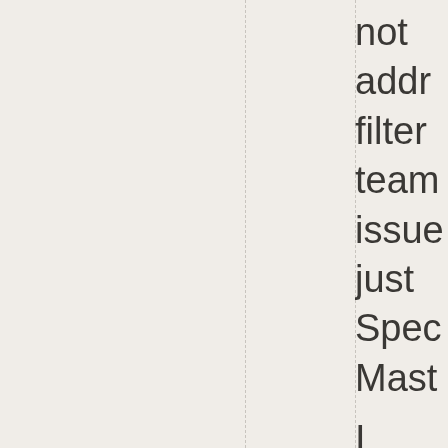not addr filter team issue just Spec Mast I agree there are issue going forw with